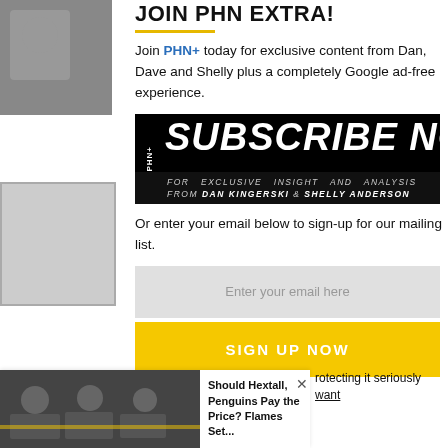JOIN PHN EXTRA!
Join PHN+ today for exclusive content from Dan, Dave and Shelly plus a completely Google ad-free experience.
[Figure (infographic): PHN+ Subscribe Now banner - black background with large white italic bold text 'SUBSCRIBE NOW' and subtext 'FOR EXCLUSIVE INSIGHT AND ANALYSIS FROM DAN KINGERSKI & SHELLY ANDERSON']
Or enter your email below to sign-up for our mailing list.
Enter your email here
SIGN UP NOW
[Figure (photo): Hockey players photo at bottom left]
Should Hextall, Penguins Pay the Price? Flames Set...
rotecting it seriously
want